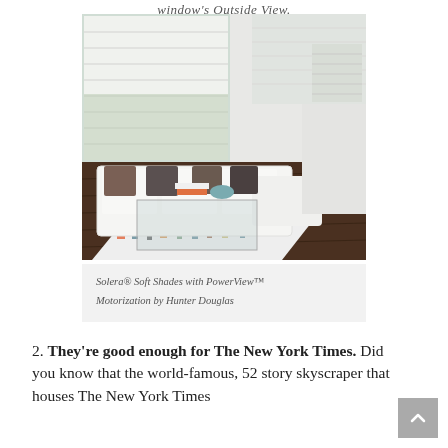window's Outside View.
[Figure (photo): Living room with white sectional sofa, colorful area rug, glass coffee table, and windows fitted with white Solera Soft Shades with PowerView Motorization by Hunter Douglas]
Solera® Soft Shades with PowerView™ Motorization by Hunter Douglas
2. They're good enough for The New York Times. Did you know that the world-famous, 52 story skyscraper that houses The New York Times